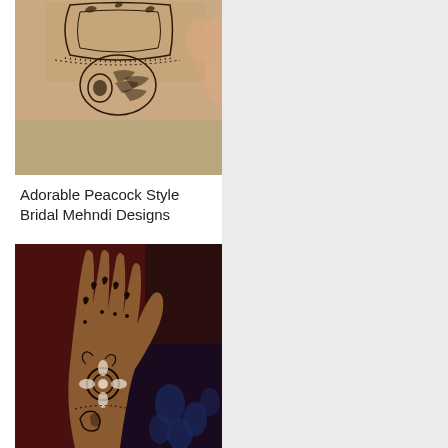[Figure (photo): Close-up photograph of a hand with intricate peacock-style henna/mehndi design applied in dark brown ink]
Adorable Peacock Style Bridal Mehndi Designs
[Figure (photo): Dark-toned photograph of a raised hand with elaborate floral and paisley mehndi design covering the palm and fingers, against a dark maroon and blue patterned background]